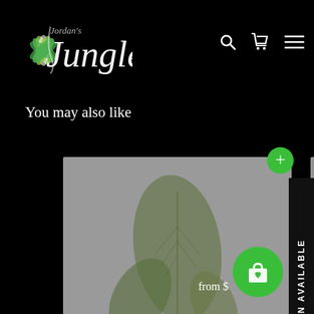[Figure (logo): Jordan's Jungle logo with stylized flower/plant and white cursive text]
You may also like
[Figure (photo): Anthurium Superbum plant with large dark green leaf on grey background]
Anthurium Superbum
$ 29 99
[Figure (photo): Anthurium lancea plant with multiple green leaves on grey background]
Anthurium lancea
$ 99 99
NOTIFY WHEN AVAILABLE
from $